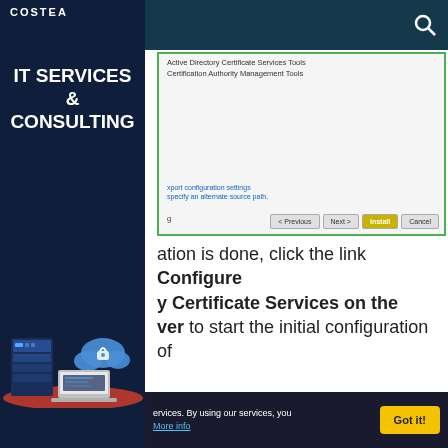IT SERVICES & CONSULTING
[Figure (screenshot): Windows Server Manager screenshot showing Active Directory Certificate Services Tools installation with Certification Authority Management Tools listed. Buttons: < Previous, Next >, Install, Cancel]
ation is done, click the link Configure y Certificate Services on the ver to start the initial configuration of
ervices. By using our services, you
More info
Got it!